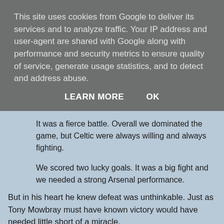This site uses cookies from Google to deliver its services and to analyze traffic. Your IP address and user-agent are shared with Google along with performance and security metrics to ensure quality of service, generate usage statistics, and to detect and address abuse.
LEARN MORE    OK
It was a fierce battle. Overall we dominated the game, but Celtic were always willing and always fighting.
We scored two lucky goals. It was a big fight and we needed a strong Arsenal performance.
But in his heart he knew defeat was unthinkable. Just as Tony Mowbray must have known victory would have needed little short of a miracle.
As ever Wenger was able to turn off that incredible selective blindness to accuse the Celtic players of roughing up his own players. Celtic simply didn't know what to do with the stiff...